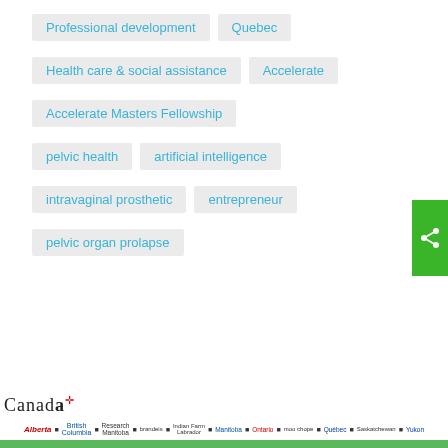Professional development
Quebec
Health care & social assistance
Accelerate
Accelerate Masters Fellowship
pelvic health
artificial intelligence
intravaginal prosthetic
entrepreneur
pelvic organ prolapse
Canada [flag] Alberta British Columbia Research Manitoba Brandeis Indian Farming Manitoba Ontario moo Moncton/PEI Quebec Saskatchewan Yukon